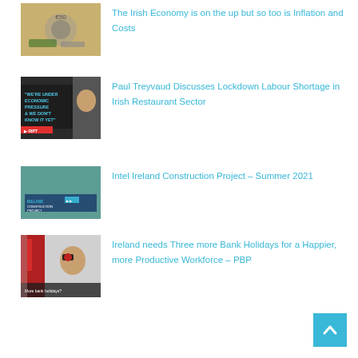[Figure (photo): Thumbnail image of Irish Euro coins and banknotes]
The Irish Economy is on the up but so too is Inflation and Costs
[Figure (photo): Thumbnail image of man with text: WE'RE UNDER ECONOMIC PRESSURE & WE DON'T KNOW IT YET - RIPT]
Paul Treyvaud Discusses Lockdown Labour Shortage in Irish Restaurant Sector
[Figure (photo): Thumbnail aerial image of Intel Ireland Construction Project]
Intel Ireland Construction Project – Summer 2021
[Figure (photo): Thumbnail image of radio presenter with text: More bank holidays?]
Ireland needs Three more Bank Holidays for a Happier, more Productive Workforce – PBP